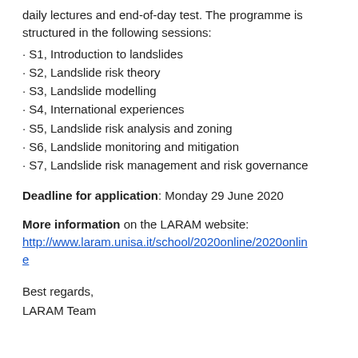daily lectures and end-of-day test. The programme is structured in the following sessions:
· S1, Introduction to landslides
· S2, Landslide risk theory
· S3, Landslide modelling
· S4, International experiences
· S5, Landslide risk analysis and zoning
· S6, Landslide monitoring and mitigation
· S7, Landslide risk management and risk governance
Deadline for application: Monday 29 June 2020
More information on the LARAM website: http://www.laram.unisa.it/school/2020online/2020online
Best regards,
LARAM Team